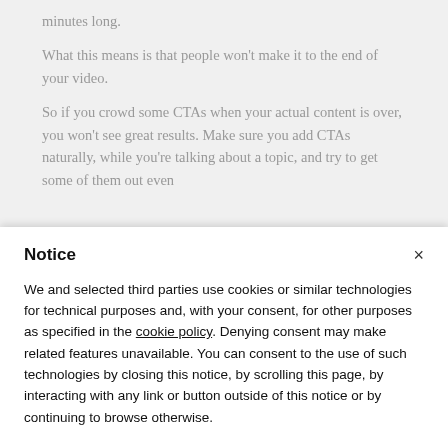minutes long.
What this means is that people won't make it to the end of your video.
So if you crowd some CTAs when your actual content is over, you won't see great results. Make sure you add CTAs naturally, while you're talking about a topic, and try to get some of them out even
Notice
We and selected third parties use cookies or similar technologies for technical purposes and, with your consent, for other purposes as specified in the cookie policy. Denying consent may make related features unavailable. You can consent to the use of such technologies by closing this notice, by scrolling this page, by interacting with any link or button outside of this notice or by continuing to browse otherwise.